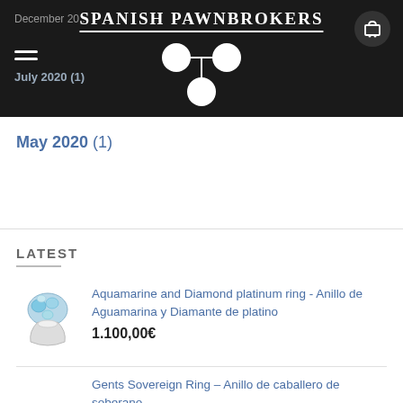Spanish Pawnbrokers
May 2020 (1)
LATEST
Aquamarine and Diamond platinum ring - Anillo de Aguamarina y Diamante de platino
1.100,00€
Gents Sovereign Ring – Anillo de caballero de soberano
650,00€